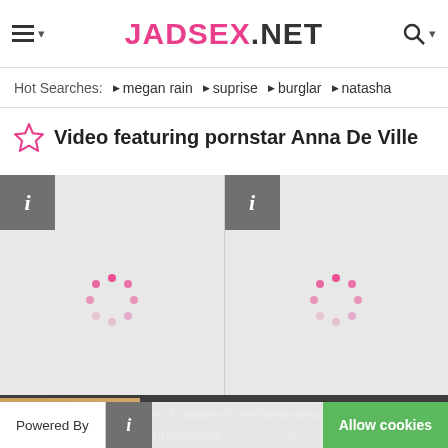JADSEX.NET
Hot Searches: megan rain suprise burglar natasha
Video featuring pornstar Anna De Ville
[Figure (screenshot): Two video thumbnail cards with info buttons and loading spinners on grey background]
This website makes use of cookies to enhance browsing experience and provide additional functionality. Privacy policy
Powered By
Allow cookies